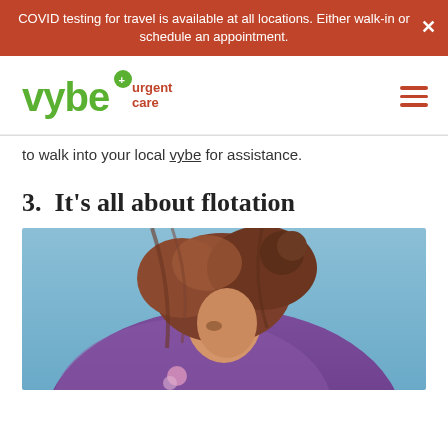COVID testing for travel is available at all locations. Either walk-in or schedule an appointment.
[Figure (logo): vybe urgent care logo with green text and red 'urgent care' subtitle]
to walk into your local vybe for assistance.
3.  It’s all about flotation
[Figure (photo): Close-up photo of a young child with brown hair wearing a purple life jacket, photographed outdoors with blue background]